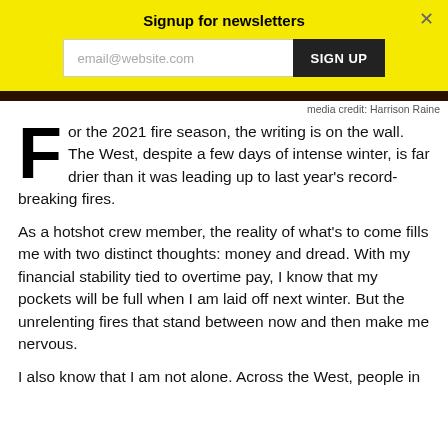Signup for newsletters
email@website.com  SIGN UP
media credit: Harrison Raine
For the 2021 fire season, the writing is on the wall. The West, despite a few days of intense winter, is far drier than it was leading up to last year's record-breaking fires.
As a hotshot crew member, the reality of what's to come fills me with two distinct thoughts: money and dread. With my financial stability tied to overtime pay, I know that my pockets will be full when I am laid off next winter. But the unrelenting fires that stand between now and then make me nervous.
I also know that I am not alone. Across the West, people in